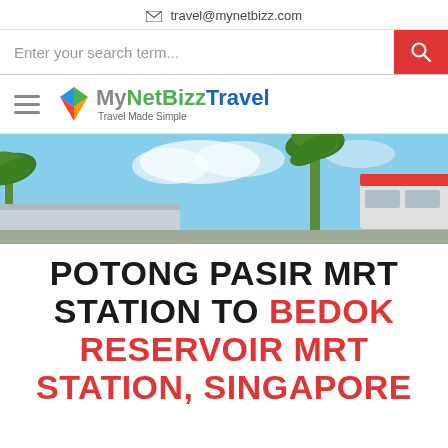travel@mynetbizz.com
Enter your search term...
[Figure (logo): MyNetBizz Travel logo with colorful geometric icon and tagline 'Travel Made Simple']
[Figure (photo): Outdoor photo of an MRT station with palm trees, blue sky, and a red/white train visible]
POTONG PASIR MRT STATION TO BEDOK RESERVOIR MRT STATION, SINGAPORE